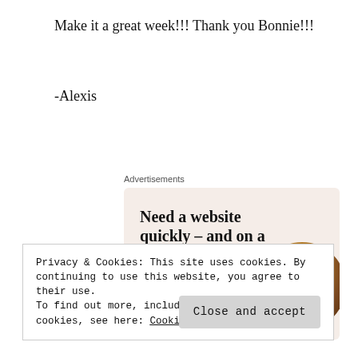Make it a great week!!! Thank you Bonnie!!!
-Alexis
Advertisements
[Figure (infographic): Advertisement banner with beige/pink background. Headline: 'Need a website quickly – and on a budget?' Subtext: 'Let us build it for you'. Button: 'Let's get started'. Circular photo of a person knitting/crafting in warm brown tones.]
Privacy & Cookies: This site uses cookies. By continuing to use this website, you agree to their use.
To find out more, including how to control cookies, see here: Cookie Policy
Close and accept